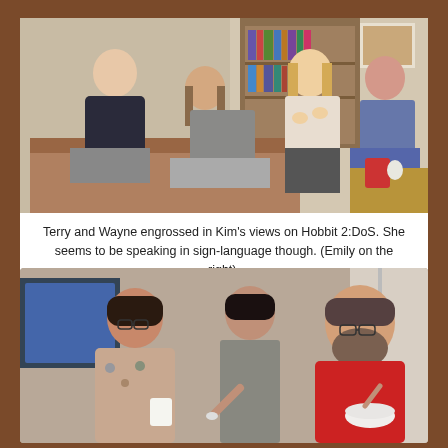[Figure (photo): Four people seated in a living room. Two men on the left (Terry and Wayne) look engaged in conversation. A blonde woman in the center-right appears to be gesturing or speaking with hands. Another woman in a floral dress sits on the far right. Bookshelves are visible in the background.]
Terry and Wayne engrossed in Kim's views on Hobbit 2:DoS. She seems to be speaking in sign-language though. (Emily on the right).
[Figure (photo): Three people around a table or sofa. A woman with dark hair and glasses on the left, a shorter-haired person in the middle holding a spoon, and a bearded man in a red shirt on the right also holding a bowl and spoon. Appears to be an informal gathering with food.]